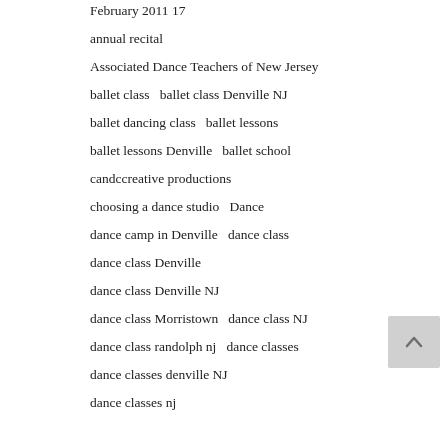February 2011 17
annual recital
Associated Dance Teachers of New Jersey
ballet class   ballet class Denville NJ
ballet dancing class   ballet lessons
ballet lessons Denville   ballet school
candccreative productions
choosing a dance studio   Dance
dance camp in Denville   dance class
dance class Denville
dance class Denville NJ
dance class Morristown   dance class NJ
dance class randolph nj   dance classes
dance classes denville NJ
dance classes nj